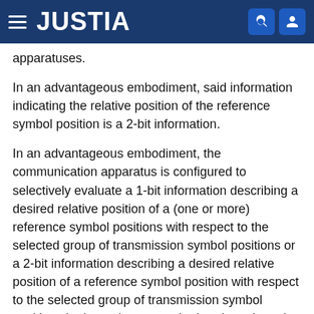JUSTIA
apparatuses.
In an advantageous embodiment, said information indicating the relative position of the reference symbol position is a 2-bit information.
In an advantageous embodiment, the communication apparatus is configured to selectively evaluate a 1-bit information describing a desired relative position of a (one or more) reference symbol positions with respect to the selected group of transmission symbol positions or a 2-bit information describing a desired relative position of a reference symbol position with respect to the selected group of transmission symbol positions in dependence on whether the selected group of transmission symbol positions comprises a length of two transmission symbol positions or a length of more